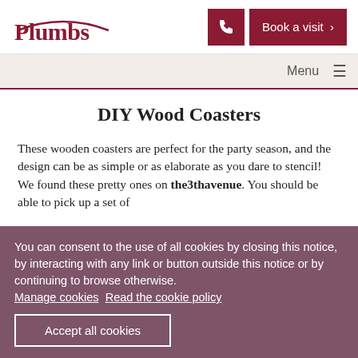Plumbs | Book a visit
Menu
DIY Wood Coasters
These wooden coasters are perfect for the party season, and the design can be as simple or as elaborate as you dare to stencil! We found these pretty ones on the3thavenue. You should be able to pick up a set of
You can consent to the use of all cookies by closing this notice, by interacting with any link or button outside this notice or by continuing to browse otherwise. Manage cookies Read the cookie policy
Accept all cookies